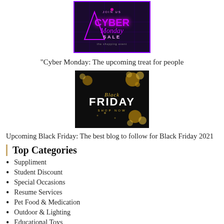[Figure (illustration): Cyber Monday promotional image with purple neon text on dark background]
"Cyber Monday: The upcoming treat for people
[Figure (illustration): Black Friday promotional image with gold floral decorations on black background]
Upcoming Black Friday: The best blog to follow for Black Friday 2021
Top Categories
Suppliment
Student Discount
Special Occasions
Resume Services
Pet Food & Medication
Outdoor & Lighting
Educational Toys
Education & Training